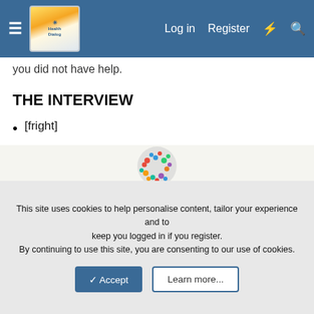HealthProlog — Log in | Register
you did not have help.
THE INTERVIEW
[fright]
[Figure (illustration): A wheelchair accessibility symbol formed by a crowd of colorful people arranged in the shape of a person in a wheelchair, viewed from above on a white background.]
This site uses cookies to help personalise content, tailor your experience and to keep you logged in if you register.
By continuing to use this site, you are consenting to our use of cookies.